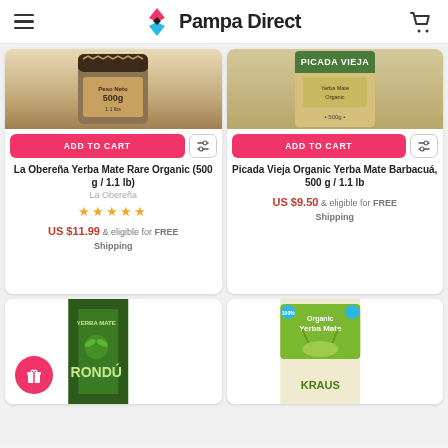Pampa Direct
[Figure (photo): La Obereña Yerba Mate Rare Organic 500g product package, partially visible at top]
ADD TO CART
La Obereña Yerba Mate Rare Organic (500 g / 1.1 lb)
La Obereña
★★★★★
US $11.99 & eligible for FREE Shipping
[Figure (photo): Picada Vieja Organic Yerba Mate Barbacuá 500g product package, partially visible at top]
ADD TO CART
Picada Vieja Organic Yerba Mate Barbacuá, 500 g / 1.1 lb
US $9.50 & eligible for FREE Shipping
[Figure (photo): Rondú Yerba Mate product package, partially visible in bottom left card]
[Figure (photo): Organic Yerba Mate product package (grasshopper/cricket brand), partially visible in bottom right card]